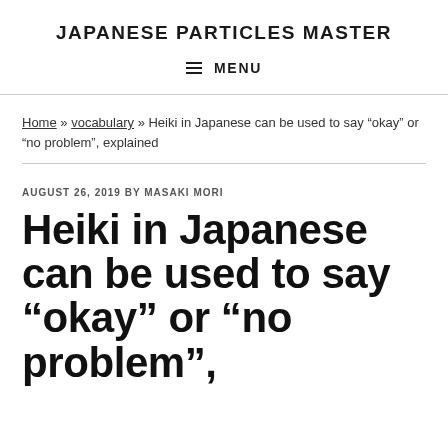JAPANESE PARTICLES MASTER
MENU
Home » vocabulary » Heiki in Japanese can be used to say “okay” or “no problem”, explained
AUGUST 26, 2019 BY MASAKI MORI
Heiki in Japanese can be used to say “okay” or “no problem”,